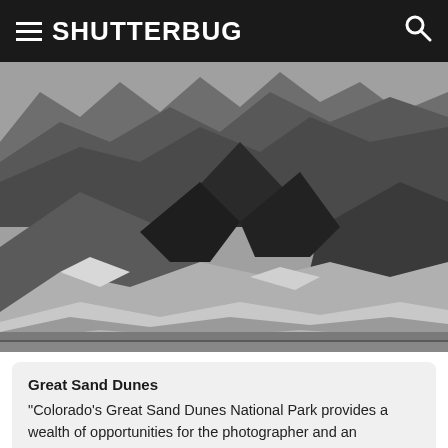SHUTTERBUG
[Figure (photo): Black and white photograph of Great Sand Dunes National Park in Colorado, showing large undulating sand dunes in the foreground with rugged mountain ridges in the background.]
Great Sand Dunes
"Colorado's Great Sand Dunes National Park provides a wealth of opportunities for the photographer and an otherworldly experience for the traveler," Timothy Van